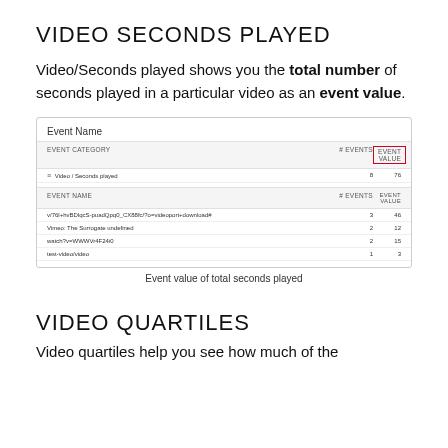VIDEO SECONDS PLAYED
Video/Seconds played shows you the total number of seconds played in a particular video as an event value.
[Figure (screenshot): Screenshot of a Google Analytics Event Name table showing Video / Seconds played event category with 8 events and 76 event value. Sub-rows show individual event names: v/76l+hvBDlqcS-puadQpq0_CX88fc/?o=videoport+download# (3 events, 46), Vimeo: The Surrogate undefined (2 events, 12), watch?v=WWWVr4F24i0 (2 events, 15), test-video/video (1 event, 3). EVENT VALUE column header is highlighted with red border.]
Event value of total seconds played
VIDEO QUARTILES
Video quartiles help you see how much of the